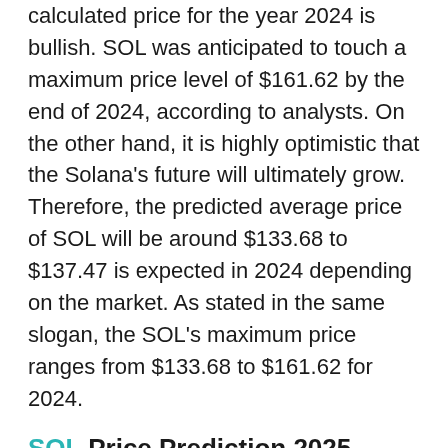calculated price for the year 2024 is bullish. SOL was anticipated to touch a maximum price level of $161.62 by the end of 2024, according to analysts. On the other hand, it is highly optimistic that the Solana's future will ultimately grow. Therefore, the predicted average price of SOL will be around $133.68 to $137.47 is expected in 2024 depending on the market. As stated in the same slogan, the SOL's maximum price ranges from $133.68 to $161.62 for 2024.
SOL Price Prediction 2025
For long-term Solana price predictions, basic